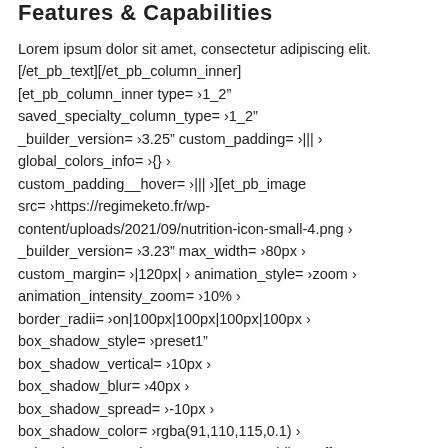Features & Capabilities
Lorem ipsum dolor sit amet, consectetur adipiscing elit. [/et_pb_text][/et_pb_column_inner] [et_pb_column_inner type= »1_2" saved_specialty_column_type= »1_2" _builder_version= »3.25" custom_padding= »||| » global_colors_info= »{} » custom_padding__hover= »||| »][et_pb_image src= »https://regimeketo.fr/wp-content/uploads/2021/09/nutrition-icon-small-4.png » _builder_version= »3.23" max_width= »80px » custom_margin= »|120px| » animation_style= »zoom » animation_intensity_zoom= »10% » border_radii= »on|100px|100px|100px|100px » box_shadow_style= »preset1" box_shadow_vertical= »10px » box_shadow_blur= »40px » box_shadow_spread= »-10px » box_shadow_color= »rgba(91,110,115,0.1) » animation= »top » always_center_on_mobile= »off » global_colors_info= »{} »][/et_pb_image][et_pb_text _builder_version= »3.27.4 » text_font= »||||||||